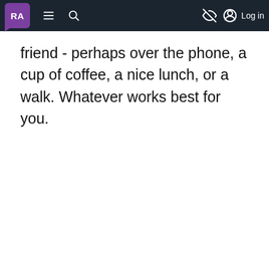RA [logo] — navigation bar with menu, search, hide, and Log in
friend - perhaps over the phone, a cup of coffee, a nice lunch, or a walk. Whatever works best for you.